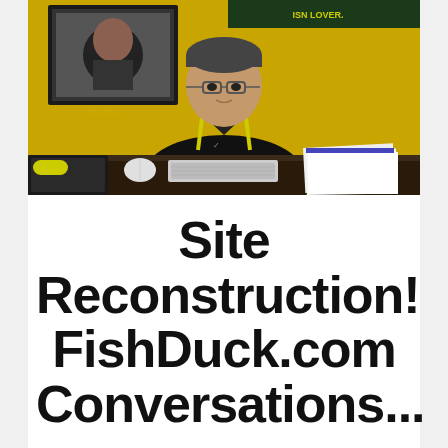[Figure (photo): A man in a black Nike polo shirt with yellow stripes sits behind a dark desk in an office with bright yellow walls. There is a keyboard, mouse, stack of papers, and phone on the desk. Sports-related posters are visible on the wall behind him.]
Site Reconstruction! FishDuck.com Conversations...